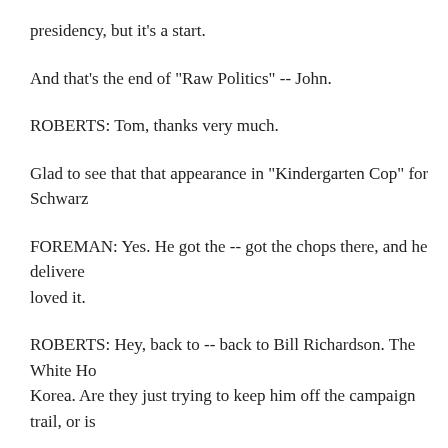presidency, but it's a start.
And that's the end of "Raw Politics" -- John.
ROBERTS: Tom, thanks very much.
Glad to see that that appearance in "Kindergarten Cop" for Schwarz
FOREMAN: Yes. He got the -- got the chops there, and he delivere loved it.
ROBERTS: Hey, back to -- back to Bill Richardson. The White Ho Korea. Are they just trying to keep him off the campaign trail, or is
FOREMAN: Well, you know, Bill Richardson, as you know, John, He is a much-respected politician. And he has got some chops in th